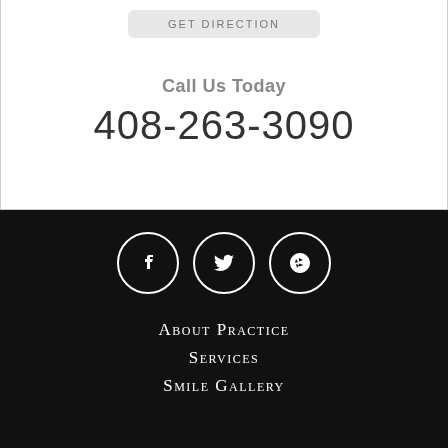GET DIRECTION
Call Us Today
408-263-3090
[Figure (infographic): Three social media icon circles (Facebook, Twitter, Yelp) on dark background]
About Practice
Services
Smile Gallery